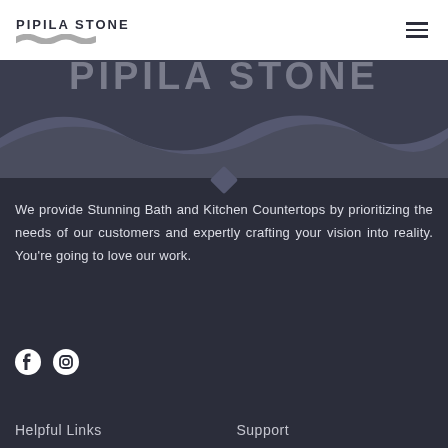PIPILA STONE
[Figure (logo): Pipila Stone logo banner with large grey text overlay and wave shape on dark background]
We provide Stunning Bath and Kitchen Countertops by prioritizing the needs of our customers and expertly crafting your vision into reality. You're going to love our work.
[Figure (illustration): Facebook and Instagram social media icons in white on dark background]
Helpful Links
Support